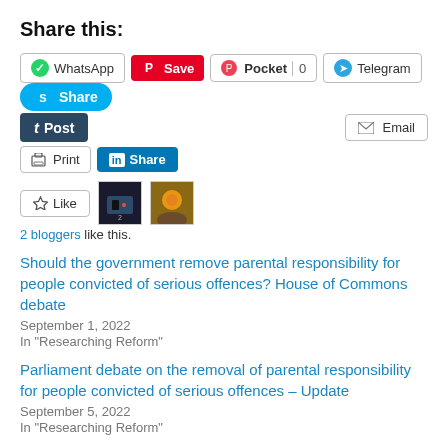Share this:
[Figure (screenshot): Social share buttons row: WhatsApp, Save (Pinterest), Pocket with count 0, Telegram]
[Figure (screenshot): Skype Share button (blue pill)]
[Figure (screenshot): Tumblr Post button (dark navy) and Email button]
[Figure (screenshot): Print button and LinkedIn Share button]
[Figure (screenshot): Like button with star icon, two blogger avatars]
2 bloggers like this.
Should the government remove parental responsibility for people convicted of serious offences? House of Commons debate
September 1, 2022
In "Researching Reform"
Parliament debate on the removal of parental responsibility for people convicted of serious offences – Update
September 5, 2022
In "Researching Reform"